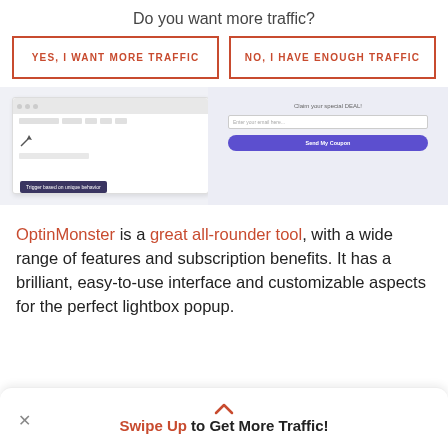Do you want more traffic?
YES, I WANT MORE TRAFFIC
NO, I HAVE ENOUGH TRAFFIC
[Figure (screenshot): Screenshot of OptinMonster interface with trigger based on unique behavior panel on left and email coupon popup on right with purple Send My Coupon button]
OptinMonster is a great all-rounder tool, with a wide range of features and subscription benefits. It has a brilliant, easy-to-use interface and customizable aspects for the perfect lightbox popup.
Swipe Up to Get More Traffic!